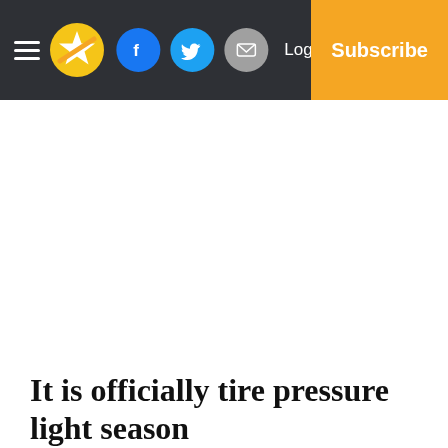[Figure (other): News website navigation bar with hamburger menu, star logo, Facebook, Twitter, and email social icons, Log In text, and orange Subscribe button]
It is officially tire pressure light season